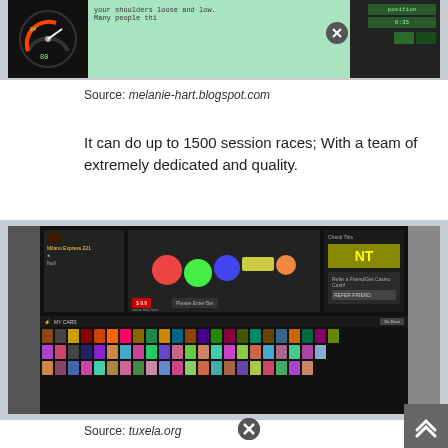[Figure (screenshot): Screenshot of a racing game interface showing speedometer, a text overlay with instructions, and game UI elements on dark background with green display boxes]
Source: melanie-hart.blogspot.com
It can do up to 1500 session races; With a team of extremely dedicated and quality.
[Figure (screenshot): Screenshot of an online car racing game (NT) showing a garage/collection interface with numerous colorful cars arranged in rows, player profile, and game UI elements on dark background]
Source: tuxela.org